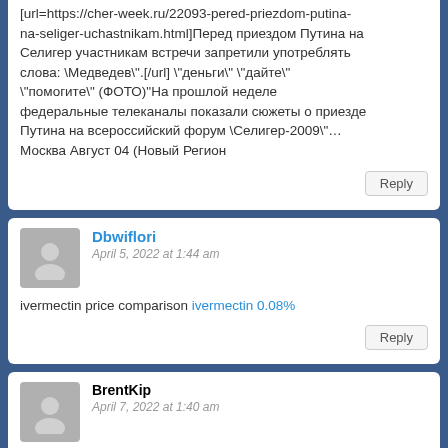[url=https://cher-week.ru/22093-pered-priezdom-putina-na-seliger-uchastnikam.html]Перед приездом Путина на Селигер участникам встречи запретили употреблять слова: \Медведев\".[/url] \"деньги\" \"дайте\" \"помогите\" (ФОТО)"На прошлой неделе федеральные телеканалы показали сюжеты о приезде Путина на всероссийский форум \Селигер-2009\"… Москва Август 04 (Новый Регион
Reply
Dbwiflori
April 5, 2022 at 1:44 am
ivermectin price comparison ivermectin 0.08%
Reply
BrentKip
April 7, 2022 at 1:40 am
https://telegra.ph/Loira-Casada-Do-Amazonas-Adora-Um-Homem-11-11
Reply